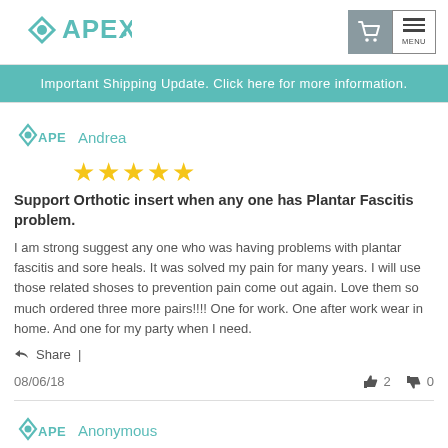[Figure (logo): APEX brand logo with teal diamond/eye shape and APEX text]
[Figure (screenshot): Shopping cart icon on grey background and hamburger menu icon]
Important Shipping Update. Click here for more information.
Andrea
[Figure (other): Five gold stars rating]
Support Orthotic insert when any one has Plantar Fascitis problem.
I am strong suggest any one who was having problems with plantar fascitis and sore heals. It was solved my pain for many years. I will use those related shoses to prevention pain come out again. Love them so much ordered three more pairs!!!! One for work. One after work wear in home. And one for my party when I need.
Share |
08/06/18
2
0
Anonymous